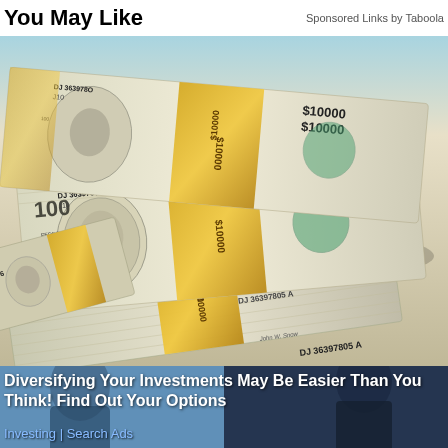You May Like   Sponsored Links by Taboola
[Figure (photo): Stacks of bundled $100 bills with gold/yellow currency bands labeled '$10000', serial numbers DJ36397802A and DJ36397805A visible]
Diversifying Your Investments May Be Easier Than You Think! Find Out Your Options
Investing | Search Ads